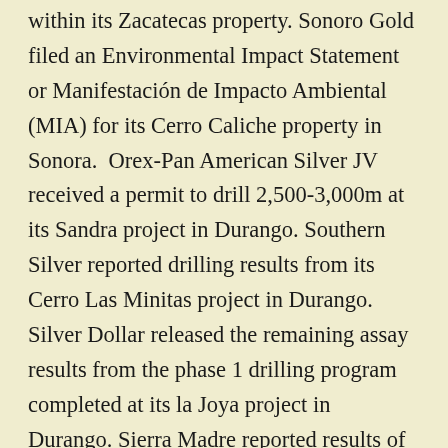within its Zacatecas property. Sonoro Gold filed an Environmental Impact Statement or Manifestación de Impacto Ambiental (MIA) for its Cerro Caliche property in Sonora.  Orex-Pan American Silver JV received a permit to drill 2,500-3,000m at its Sandra project in Durango. Southern Silver reported drilling results from its Cerro Las Minitas project in Durango. Silver Dollar released the remaining assay results from the phase 1 drilling program completed at its la Joya project in Durango. Sierra Madre reported results of the last four holes collared at its Tepic project in Nayarit. Golden Tag announced results from 2 holes drilled at its San Diego project in Durango. Guanajuato Silver reported drill results from its ongoing exploration programs at its El Cubo mine and El Pinguico projects in Guanajuato. Prime Mining announced new results from 17 holes drilled